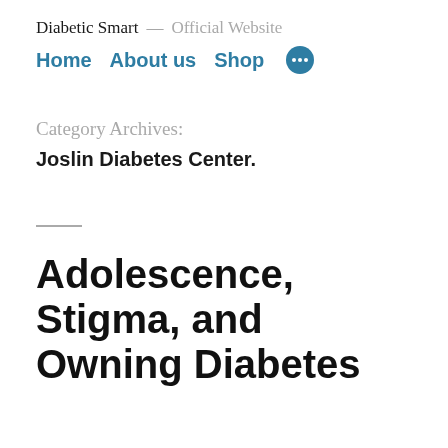Diabetic Smart — Official Website
Home   About us   Shop
Category Archives:
Joslin Diabetes Center.
Adolescence, Stigma, and Owning Diabetes